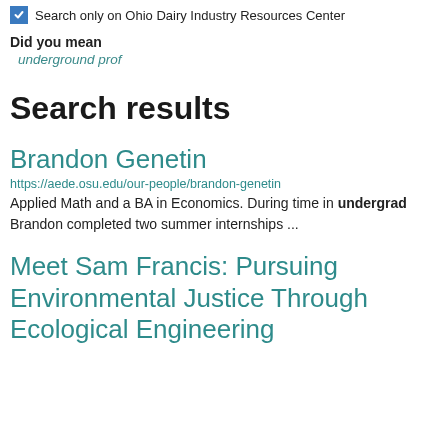Search only on Ohio Dairy Industry Resources Center
Did you mean
underground prof
Search results
Brandon Genetin
https://aede.osu.edu/our-people/brandon-genetin
Applied Math and a BA in Economics. During time in undergrad Brandon completed two summer internships ...
Meet Sam Francis: Pursuing Environmental Justice Through Ecological Engineering